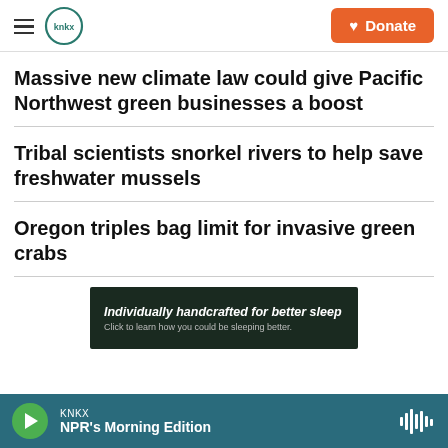KNKX | Donate
Massive new climate law could give Pacific Northwest green businesses a boost
Tribal scientists snorkel rivers to help save freshwater mussels
Oregon triples bag limit for invasive green crabs
[Figure (photo): Advertisement banner: 'Individually handcrafted for better sleep. Click to learn how you could be sleeping better.']
KNKX | NPR's Morning Edition